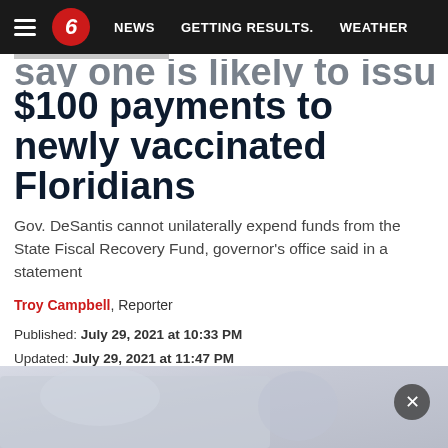NEWS  GETTING RESULTS.  WEATHER
$100 payments to newly vaccinated Floridians
Gov. DeSantis cannot unilaterally expend funds from the State Fiscal Recovery Fund, governor's office said in a statement
Troy Campbell, Reporter
Published: July 29, 2021 at 10:33 PM
Updated: July 29, 2021 at 11:47 PM
Tags: Coronavirus, Vaccine, Politics, Florida
[Figure (photo): Blurred photo at the bottom of the article page]